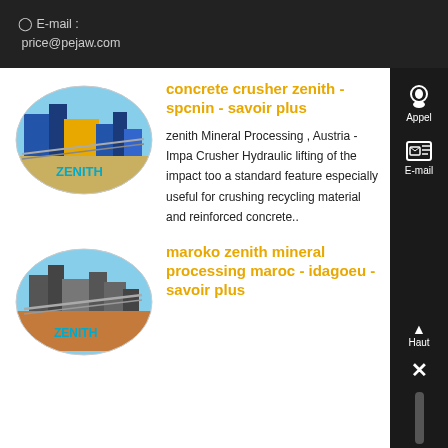E-mail : price@pejaw.com
[Figure (photo): Oval-framed photo of a Zenith mineral processing plant with blue industrial equipment and ZENITH watermark]
concrete crusher zenith - spcnin - savoir plus
zenith Mineral Processing , Austria - Impact Crusher Hydraulic lifting of the impact too a standard feature especially useful for crushing recycling material and reinforced concrete..
[Figure (photo): Oval-framed photo of a Zenith mineral processing plant showing conveyor equipment with ZENITH watermark]
maroko zenith mineral processing maroc - idagoeu - savoir plus